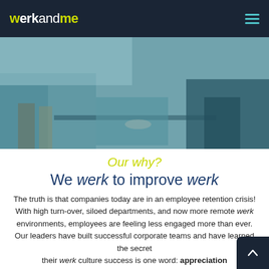werkandme
[Figure (photo): Group of people sitting around a table with a laptop in a teal-tinted office environment]
Our why?
We werk to improve werk
The truth is that companies today are in an employee retention crisis! With high turn-over, siloed departments, and now more remote werk environments, employees are feeling less engaged more than ever. Our leaders have built successful corporate teams and have learned the secret their werk culture success is one word: appreciation